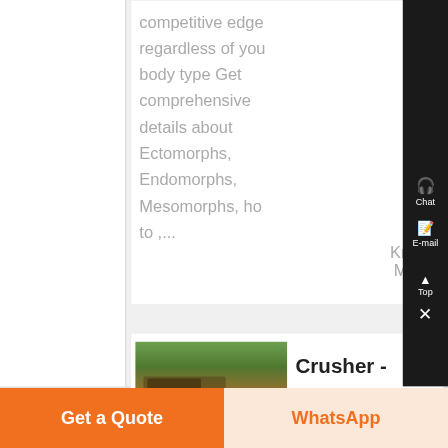competitive edge regardless of your body type Get comprehensive details about Ectomorphs, Endomorphs, Mesomorphs, ho to ,...
Know More
[Figure (screenshot): Right sidebar with Chat, E-mail, Top, and close (X) buttons on black background]
[Figure (photo): Thumbnail image showing a crusher machine in a outdoor/forest setting]
Crusher -
Get a Quote
WhatsApp